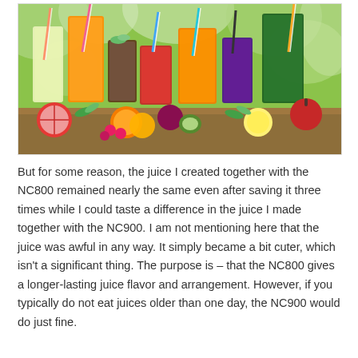[Figure (photo): A colorful assortment of fresh fruit juices in various glasses with straws, surrounded by fresh fruits including oranges, tomatoes, kiwi, raspberries, beets, lemons, apples, and mint leaves on a wooden table with a green bokeh background.]
But for some reason, the juice I created together with the NC800 remained nearly the same even after saving it three times while I could taste a difference in the juice I made together with the NC900. I am not mentioning here that the juice was awful in any way. It simply became a bit cuter, which isn't a significant thing. The purpose is – that the NC800 gives a longer-lasting juice flavor and arrangement. However, if you typically do not eat juices older than one day, the NC900 would do just fine.